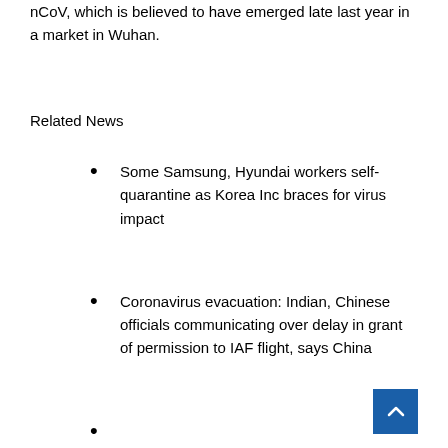nCoV, which is believed to have emerged late last year in a market in Wuhan.
Related News
Some Samsung, Hyundai workers self-quarantine as Korea Inc braces for virus impact
Coronavirus evacuation: Indian, Chinese officials communicating over delay in grant of permission to IAF flight, says China